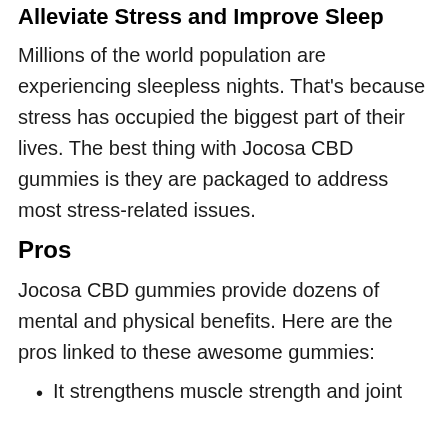Alleviate Stress and Improve Sleep
Millions of the world population are experiencing sleepless nights. That's because stress has occupied the biggest part of their lives. The best thing with Jocosa CBD gummies is they are packaged to address most stress-related issues.
Pros
Jocosa CBD gummies provide dozens of mental and physical benefits. Here are the pros linked to these awesome gummies:
It strengthens muscle strength and joint